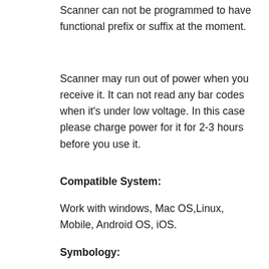Scanner can not be programmed to have functional prefix or suffix at the moment.
Scanner may run out of power when you receive it. It can not read any bar codes when it's under low voltage. In this case please charge power for it for 2-3 hours before you use it.
Compatible System:
Work with windows, Mac OS,Linux, Mobile, Android OS, iOS.
Symbology: